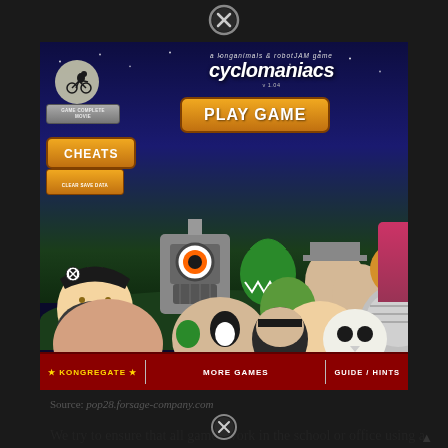[Figure (screenshot): Screenshot of the Cyclomaniacs Flash game on Kongregate, showing the game title 'cyclomaniacs', a 'PLAY GAME' button in orange, 'CHEATS' button, 'GAME COMPLETE MOVIE' and 'CLEAR SAVE DATA' buttons, a moon with a cyclist silhouette, many cartoon characters, and a red bottom bar with KONGREGATE, MORE GAMES, and GUIDE/HINTS links.]
Source: pop28.forsage-company.com
We try to ensure that all games work in the school or office using a computer or chromebook. Find the best